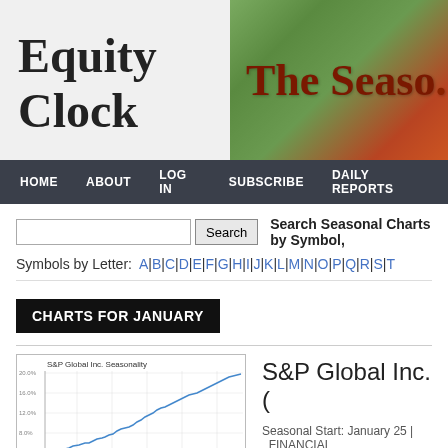Equity Clock
[Figure (illustration): The Seasons header banner with seasonal imagery (trees, autumn colors) and stylized text 'The Seaso...']
HOME | ABOUT | LOG IN | SUBSCRIBE | DAILY REPORTS
Search Seasonal Charts by Symbol,
Symbols by Letter: A|B|C|D|E|F|G|H|I|J|K|L|M|N|O|P|Q|R|S|T
CHARTS FOR JANUARY
[Figure (line-chart): Line chart showing S&P Global Inc. seasonality trend, with an upward trending blue line over time. Y-axis shows percentage values around 8.0% to 20.0%.]
S&P Global Inc. (
Seasonal Start: January 25 |  FINANCIAL